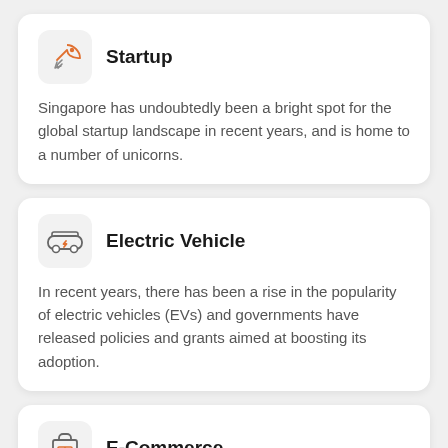Startup
Singapore has undoubtedly been a bright spot for the global startup landscape in recent years, and is home to a number of unicorns.
Electric Vehicle
In recent years, there has been a rise in the popularity of electric vehicles (EVs) and governments have released policies and grants aimed at boosting its adoption.
E-Commerce
Ever since the Covid-19 pandemic hit, e-commerce has boomed in popularity, with consumers buying everything